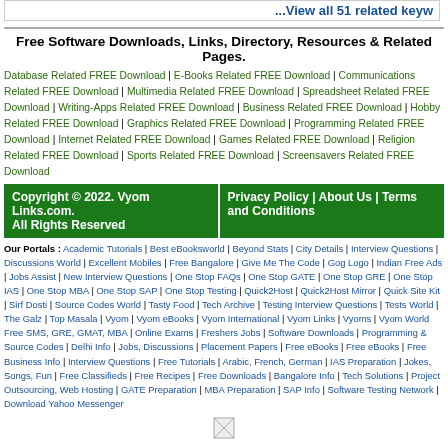...View all 51 related keyw
Free Software Downloads, Links, Directory, Resources & Related Pages.
Database Related FREE Download | E-Books Related FREE Download | Communications Related FREE Download | Multimedia Related FREE Download | Spreadsheet Related FREE Download | Writing-Apps Related FREE Download | Business Related FREE Download | Hobby Related FREE Download | Graphics Related FREE Download | Programming Related FREE Download | Internet Related FREE Download | Games Related FREE Download | Religion Related FREE Download | Sports Related FREE Download | Screensavers Related FREE Download
Copyright © 2022. Vyom Links.com. All Rights Reserved | Privacy Policy | About Us | Terms and Conditions
Our Portals : Academic Tutorials | Best eBooksworld | Beyond Stats | City Details | Interview Questions | Discussions World | Excellent Mobiles | Free Bangalore | Give Me The Code | Gog Logo | Indian Free Ads | Jobs Assist | New Interview Questions | One Stop FAQs | One Stop GATE | One Stop GRE | One Stop IAS | One Stop MBA | One Stop SAP | One Stop Testing | Quick2Host | Quick2Host Mirror | Quick Site Kit | Sirf Dosti | Source Codes World | Tasty Food | Tech Archive | Testing Interview Questions | Tests World | The Galz | Top Masala | Vyom | Vyom eBooks | Vyom International | Vyom Links | Vyoms | Vyom World Free SMS, GRE, GMAT, MBA | Online Exams | Freshers Jobs | Software Downloads | Programming & Source Codes | Delhi Info | Jobs, Discussions | Placement Papers | Free eBooks | Free eBooks | Free Business Info | Interview Questions | Free Tutorials | Arabic, French, German | IAS Preparation | Jokes, Songs, Fun | Free Classifieds | Free Recipes | Free Downloads | Bangalore Info | Tech Solutions | Project Outsourcing, Web Hosting | GATE Preparation | MBA Preparation | SAP Info | Software Testing Network | Download Yahoo Messenger
[Figure (other): Broken/loading image icon at bottom center of page]